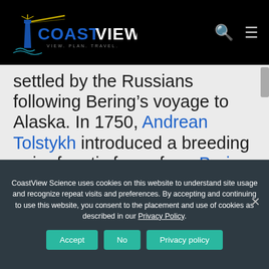[Figure (logo): CoastView logo with lighthouse icon and tagline VIEW. PLAN. TRAVEL. on black background, with search and hamburger menu icons]
settled by the Russians following Bering’s voyage to Alaska. In 1750, Andrean Tolstykh introduced a breeding pair of arctic foxes from Bering Island to Attu Island, where
CoastView Science uses cookies on this website to understand site usage and recognize repeat visits and preferences. By accepting and continuing to use this website, you consent to the placement and use of cookies as described in our Privacy Policy.